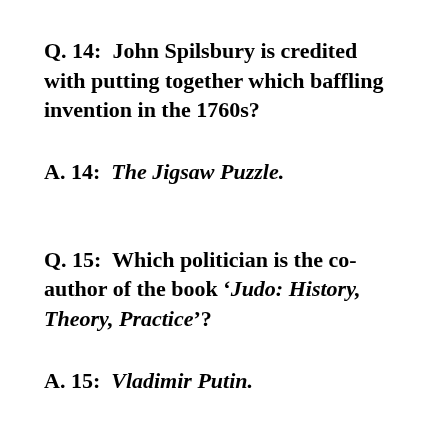Q. 14:  John Spilsbury is credited with putting together which baffling invention in the 1760s?
A. 14:  The Jigsaw Puzzle.
Q. 15:  Which politician is the co-author of the book ‘Judo: History, Theory, Practice’?
A. 15:  Vladimir Putin.